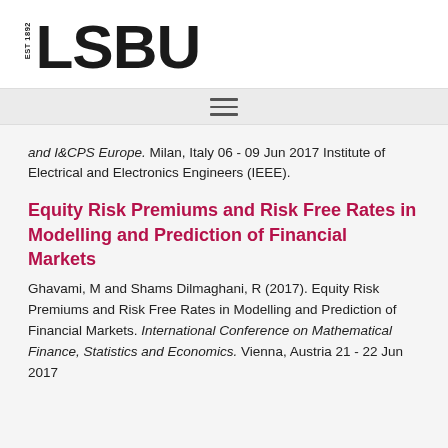LSBU EST 1892
and I&CPS Europe. Milan, Italy 06 - 09 Jun 2017 Institute of Electrical and Electronics Engineers (IEEE).
Equity Risk Premiums and Risk Free Rates in Modelling and Prediction of Financial Markets
Ghavami, M and Shams Dilmaghani, R (2017). Equity Risk Premiums and Risk Free Rates in Modelling and Prediction of Financial Markets. International Conference on Mathematical Finance, Statistics and Economics. Vienna, Austria 21 - 22 Jun 2017